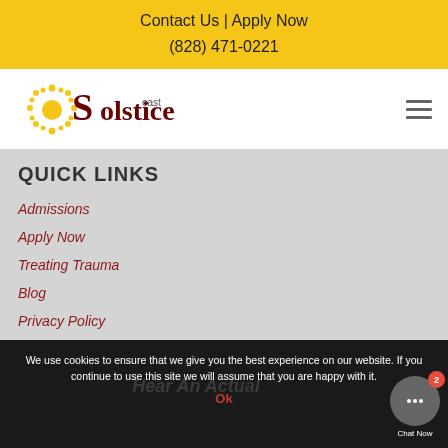Contact Us | Apply Now
(828) 471-0221
[Figure (logo): Solstice East logo with sun and moon icon]
QUICK LINKS
Admissions
Apply Now
Treating Trauma
Blog
Privacy Policy
We use cookies to ensure that we give you the best experience on our website. If you continue to use this site we will assume that you are happy with it.
Ok